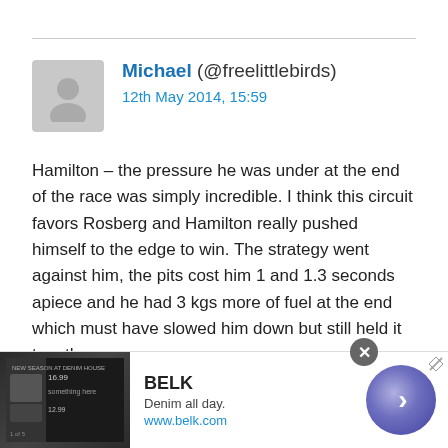Michael (@freelittlebirds) 12th May 2014, 15:59
Hamilton – the pressure he was under at the end of the race was simply incredible. I think this circuit favors Rosberg and Hamilton really pushed himself to the edge to win. The strategy went against him, the pits cost him 1 and 1.3 seconds apiece and he had 3 kgs more of fuel at the end which must have slowed him down but still held it together.
No racer can do better than that! As for Vettel, it's a lot easier to come from behind with a quick and incredibly stable car than the other drivers than it is to hold on to the lead with less than...
[Figure (infographic): Advertisement for BELK - Denim all day. www.belk.com with fashion image and navigation arrow]